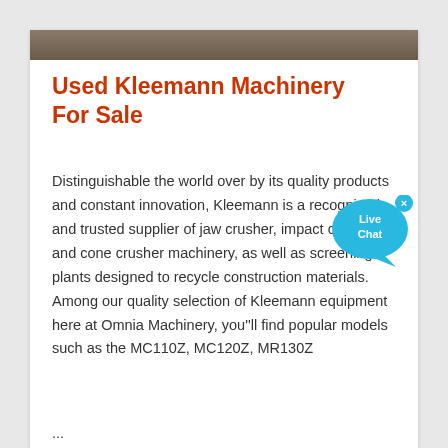[Figure (photo): Partial image strip of machinery at top of content card]
Used Kleemann Machinery For Sale
Distinguishable the world over by its quality products and constant innovation, Kleemann is a recognised and trusted supplier of jaw crusher, impact crusher and cone crusher machinery, as well as screening plants designed to recycle construction materials. Among our quality selection of Kleemann equipment here at Omnia Machinery, you''ll find popular models such as the MC110Z, MC120Z, MR130Z ...